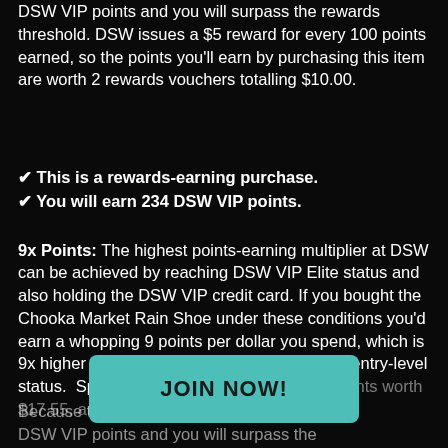DSW VIP points and you will surpass the rewards threshold. DSW issues a $5 reward for every 100 points earned, so the points you'll earn by purchasing this item are worth 2 rewards vouchers totalling $10.00.
✔ This is a rewards-earning purchase.
✔ You will earn 234 DSW VIP points.
9x Points: The highest points-earning multiplier at DSW can be achieved by reaching DSW VIP Elite status and also holding the DSW VIP credit card. If you bought the Chooka Market Rain Shoe under these conditions you'd earn a whopping 9 points per dollar you spend, which is 9x higher than purchasing this item at DSW's entry-level status.  Spending $39.99 will earn you 351 points worth $17.55, an overall total of 459...
[Figure (other): Teal/turquoise JOIN NOW! button overlay]
Because th... earn 351 DSW VIP points and you will surpass the...